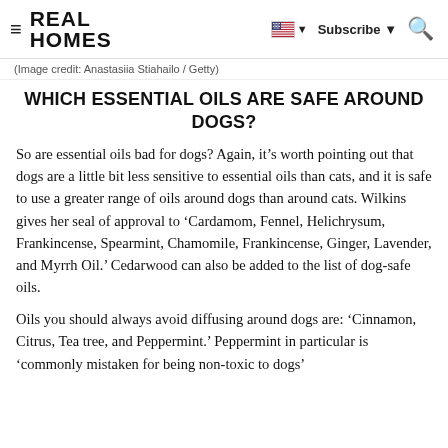REAL HOMES  Subscribe
(Image credit: Anastasiia Stiahailo / Getty)
WHICH ESSENTIAL OILS ARE SAFE AROUND DOGS?
So are essential oils bad for dogs? Again, it’s worth pointing out that dogs are a little bit less sensitive to essential oils than cats, and it is safe to use a greater range of oils around dogs than around cats. Wilkins gives her seal of approval to ‘Cardamom, Fennel, Helichrysum, Frankincense, Spearmint, Chamomile, Frankincense, Ginger, Lavender, and Myrrh Oil.’ Cedarwood can also be added to the list of dog-safe oils.
Oils you should always avoid diffusing around dogs are: ‘Cinnamon, Citrus, Tea tree, and Peppermint.’ Peppermint in particular is ‘commonly mistaken for being non-toxic to dogs’